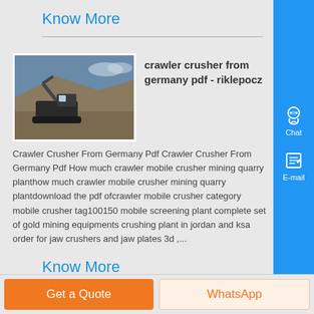Know More
[Figure (photo): Thumbnail image of a crawler crusher machine at a quarry/mining site]
crawler crusher from germany pdf - riklepocz
Crawler Crusher From Germany Pdf Crawler Crusher From Germany Pdf How much crawler mobile crusher mining quarry planthow much crawler mobile crusher mining quarry plantdownload the pdf ofcrawler mobile crusher category mobile crusher tag100150 mobile screening plant complete set of gold mining equipments crushing plant in jordan and ksa order for jaw crushers and jaw plates 3d ,...
Know More
Get a Quote
WhatsApp